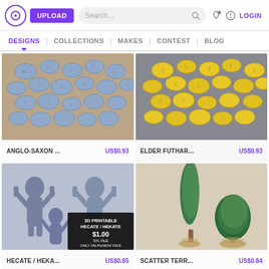UPLOAD | Search... | LOGIN
DESIGNS | COLLECTIONS | MAKES | CONTEST | BLOG
[Figure (photo): Blue oval rune stones with Anglo-Saxon runes on furry surface]
ANGLO-SAXON ... US$0.93
[Figure (photo): Yellow oval rune stones with Elder Futhark runes on grey textured surface]
ELDER FUTHAR... US$0.93
[Figure (photo): 3D printed Hecate/Hekate figurines in blue/grey, with advertisement overlay showing 3D PRINTABLE HECATE / HEKATE $1.00 STL FILE ONLY ON PUNKIN FIGS www.punkinfigs.com]
HECATE / HEKA... US$0.85
[Figure (photo): Miniature scatter terrain trees - one tall cypress style and one round tree, on small bases]
SCATTER TERR... US$0.84